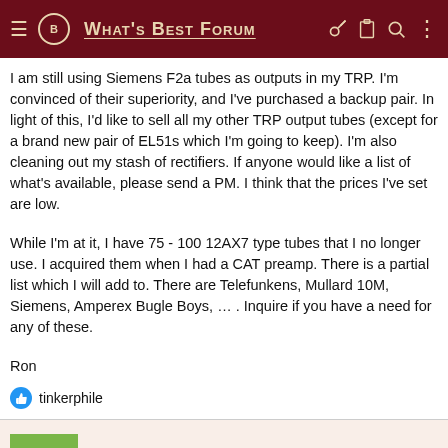WHAT'S BEST FORUM
I am still using Siemens F2a tubes as outputs in my TRP. I'm convinced of their superiority, and I've purchased a backup pair. In light of this, I'd like to sell all my other TRP output tubes (except for a brand new pair of EL51s which I'm going to keep). I'm also cleaning out my stash of rectifiers. If anyone would like a list of what's available, please send a PM. I think that the prices I've set are low.
While I'm at it, I have 75 - 100 12AX7 type tubes that I no longer use. I acquired them when I had a CAT preamp. There is a partial list which I will add to. There are Telefunkens, Mullard 10M, Siemens, Amperex Bugle Boys, … . Inquire if you have a need for any of these.
Ron
tinkerphile
vladinsky
Member